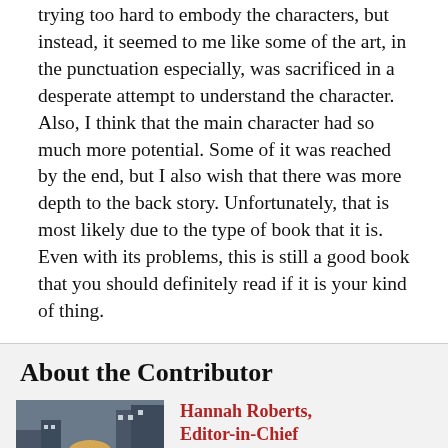trying too hard to embody the characters, but instead, it seemed to me like some of the art, in the punctuation especially, was sacrificed in a desperate attempt to understand the character. Also, I think that the main character had so much more potential. Some of it was reached by the end, but I also wish that there was more depth to the back story. Unfortunately, that is most likely due to the type of book that it is. Even with its problems, this is still a good book that you should definitely read if it is your kind of thing.
About the Contributor
[Figure (photo): Photo of Hannah Roberts, a young woman with blonde hair, outdoors with buildings in the background]
Hannah Roberts, Editor-in-Chief
Hannah Roberts has been in journalism for